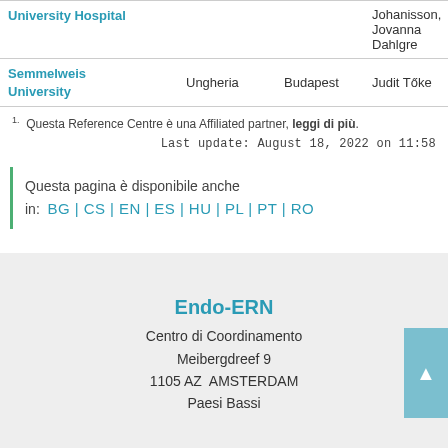| Institution | Country | City | Contact |
| --- | --- | --- | --- |
| University Hospital |  |  | Johanisson, Jovanna Dahlgre |
| Semmelweis University | Ungheria | Budapest | Judit Tőke |
1. Questa Reference Centre è una Affiliated partner, leggi di più.
Last update: August 18, 2022 on 11:58
Questa pagina è disponibile anche in: BG | CS | EN | ES | HU | PL | PT | RO
Endo-ERN
Centro di Coordinamento
Meibergdreef 9
1105 AZ AMSTERDAM
Paesi Bassi